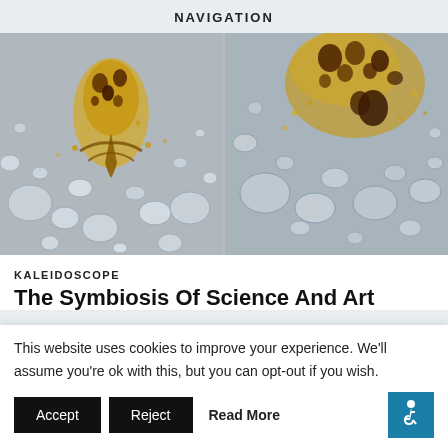NAVIGATION
[Figure (photo): Close-up macro photo of water droplets on a surface with yellow-brown speckled biological or chemical pattern resembling a flower or tree structure in the center]
[Figure (photo): Close-up macro photo of water droplets on a surface with yellow-brown speckled pattern in the upper portion]
KALEIDOSCOPE
The Symbiosis Of Science And Art
This website uses cookies to improve your experience. We'll assume you're ok with this, but you can opt-out if you wish.
Accept
Reject
Read More